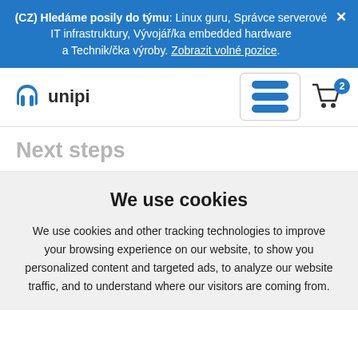(CZ) Hledáme posily do týmu: Linux guru, Správce serverové IT infrastruktury, Vývojář/ka embedded hardware a Technik/čka výroby. Zobrazit volné pozice.
[Figure (logo): Unipi logo with stylized U icon and text 'unipi', plus hamburger menu icon and shopping cart with badge '2']
Next steps
We use cookies
We use cookies and other tracking technologies to improve your browsing experience on our website, to show you personalized content and targeted ads, to analyze our website traffic, and to understand where our visitors are coming from.